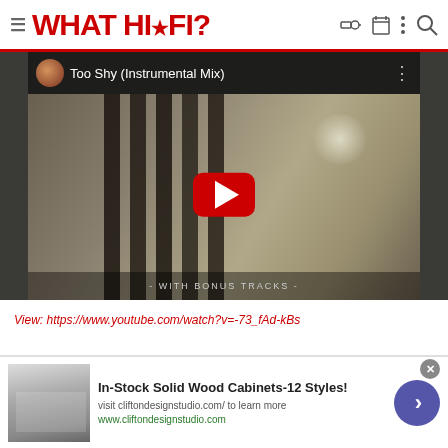WHAT HI*FI?
[Figure (screenshot): YouTube video embed showing 'Too Shy (Instrumental Mix)' with a red play button over a grunge-textured background with vertical dark bars, and caption '- WITH BONUS TRACKS -']
View: https://www.youtube.com/watch?v=-73_fAd-kBs
lee711
[Figure (screenshot): Advertisement banner for 'In-Stock Solid Wood Cabinets-12 Styles!' with cabinet image, description text 'visit cliftondesignstudio.com/ to learn more', URL 'www.cliftondesignstudio.com', and a forward arrow button]